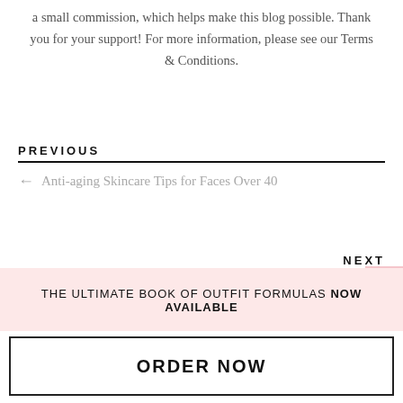a small commission, which helps make this blog possible. Thank you for your support! For more information, please see our Terms & Conditions.
PREVIOUS
← Anti-aging Skincare Tips for Faces Over 40
NEXT
Spring Outfit Formula: White Jeans + Black Tank →
THE ULTIMATE BOOK OF OUTFIT FORMULAS NOW AVAILABLE
ORDER NOW